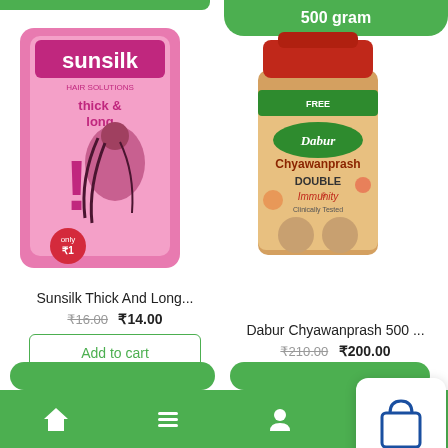500 gram
[Figure (photo): Sunsilk Thick and Long hair shampoo pink sachet packet]
Sunsilk Thick And Long...
₹16.00  ₹14.00
Add to cart
[Figure (photo): Dabur Chyawanprash Double Immunity red jar 500g]
Dabur Chyawanprash 500 ...
₹210.00  ₹200.00
Add to cart
[Figure (screenshot): Shopping bag icon popup floating over products]
[Figure (photo): Partial product image bottom left]
[Figure (photo): Partial Garnier product image bottom right]
Home  Menu  Profile  WhatsApp